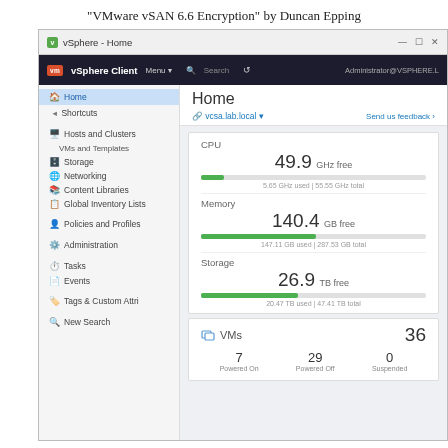"VMware vSAN 6.6 Encryption" by Duncan Epping
[Figure (screenshot): vSphere Client Home screen showing CPU (49.9 GHz free, 5.65 GHz used, 55.55 GHz total), Memory (140.4 GB free, 147.11 GB used, 287.53 GB total), Storage (26.9 TB free, 20.47 TB used, 47.41 TB total), and VMs (36 total: 7 Powered On, 29 Powered Off, 0 Suspended)]